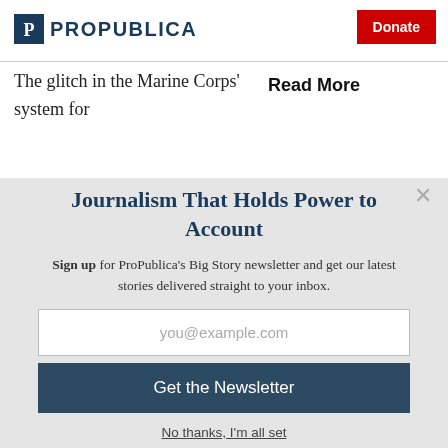ProPublica — Donate
The glitch in the Marine Corps' system for
Read More
Journalism That Holds Power to Account
Sign up for ProPublica's Big Story newsletter and get our latest stories delivered straight to your inbox.
you@example.com
Get the Newsletter
No thanks, I'm all set
This site is protected by reCAPTCHA and the Google Privacy Policy and Terms of Service apply.